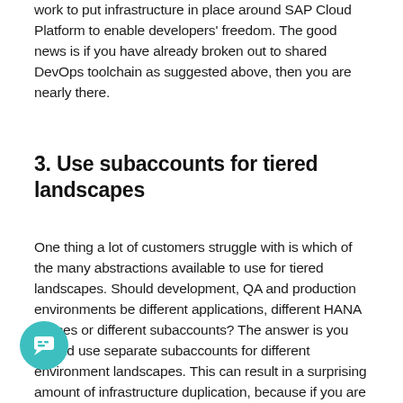work to put infrastructure in place around SAP Cloud Platform to enable developers' freedom. The good news is if you have already broken out to shared DevOps toolchain as suggested above, then you are nearly there.
3. Use subaccounts for tiered landscapes
One thing a lot of customers struggle with is which of the many abstractions available to use for tiered landscapes. Should development, QA and production environments be different applications, different HANA spaces or different subaccounts? The answer is you should use separate subaccounts for different environment landscapes. This can result in a surprising amount of infrastructure duplication, because if you are using the HANA database, you may need to run three separate HANA instances for a